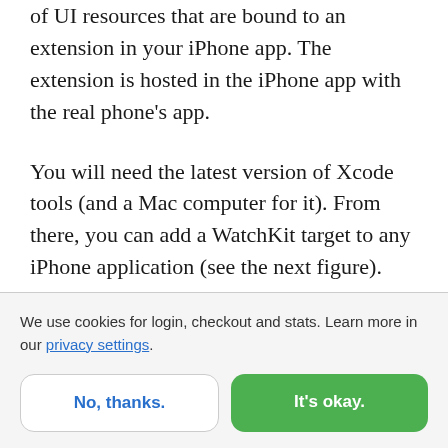of UI resources that are bound to an extension in your iPhone app. The extension is hosted in the iPhone app with the real phone's app.
You will need the latest version of Xcode tools (and a Mac computer for it). From there, you can add a WatchKit target to any iPhone application (see the next figure). The app will travel with the iPhone app and will be installed automatically in a user's Apple Watch if one is present.
We use cookies for login, checkout and stats. Learn more in our privacy settings.
No, thanks.
It's okay.